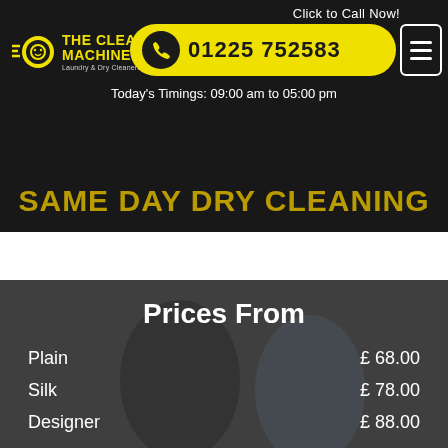[Figure (screenshot): Website banner for The Clean Machine laundry and dry cleaners, showing logo, phone number 01225 752583, today's timings, and same day dry cleaning heading]
Click to Call Now!
Today's Timings: 09:00 am to 05:00 pm
SAME DAY DRY CLEANING
Prices From
Plain  £ 68.00
Silk  £ 78.00
Designer  £ 88.00